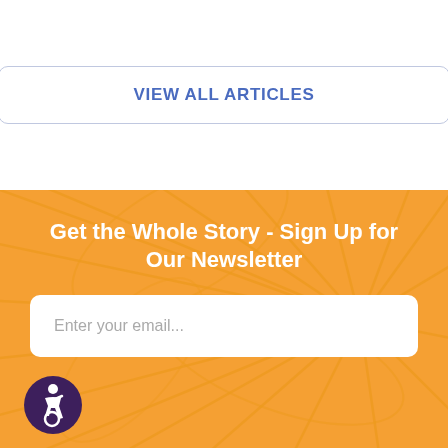VIEW ALL ARTICLES
Get the Whole Story - Sign Up for Our Newsletter
Enter your email...
[Figure (logo): Accessibility icon — person in wheelchair inside a purple circle]